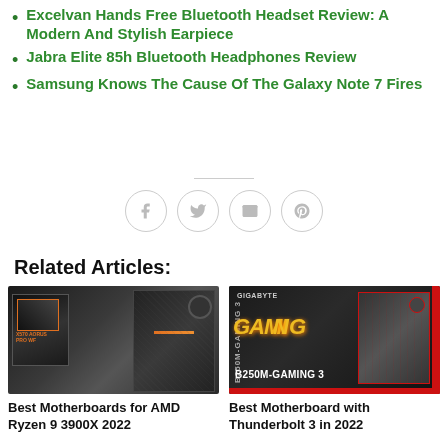Excelvan Hands Free Bluetooth Headset Review: A Modern And Stylish Earpiece
Jabra Elite 85h Bluetooth Headphones Review
Samsung Knows The Cause Of The Galaxy Note 7 Fires
[Figure (infographic): Social sharing icons: Facebook, Twitter, Email, Pinterest in circular outlines]
Related Articles:
[Figure (photo): X570 AORUS PRO motherboard product photo]
Best Motherboards for AMD Ryzen 9 3900X 2022
[Figure (photo): Gigabyte B250M-GAMING 3 motherboard product box photo]
Best Motherboard with Thunderbolt 3 in 2022